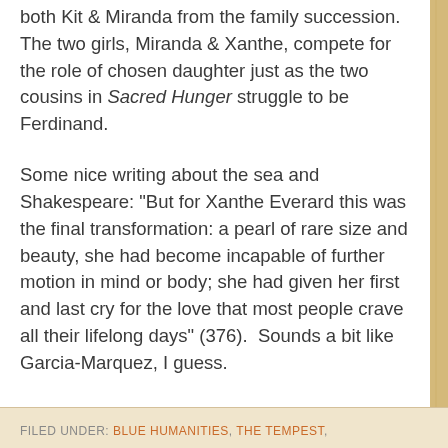both Kit & Miranda from the family succession. The two girls, Miranda & Xanthe, compete for the role of chosen daughter just as the two cousins in Sacred Hunger struggle to be Ferdinand.
Some nice writing about the sea and Shakespeare: "But for Xanthe Everard this was the final transformation: a pearl of rare size and beauty, she had become incapable of further motion in mind or body; she had given her first and last cry for the love that most people crave all their lifelong days" (376).  Sounds a bit like Garcia-Marquez, I guess.
FILED UNDER: BLUE HUMANITIES, THE TEMPEST,